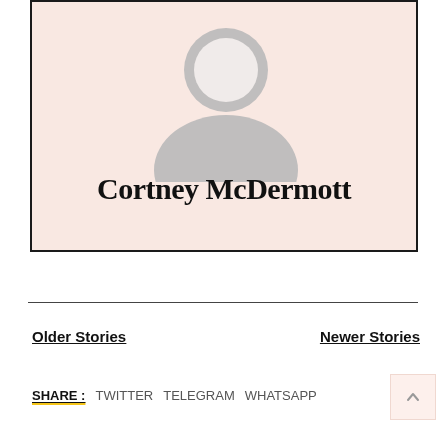[Figure (illustration): Profile card with pink background, generic grey avatar silhouette icon, and bold serif name text reading 'Cortney McDermott']
Older Stories
Newer Stories
SHARE : TWITTER TELEGRAM WHATSAPP